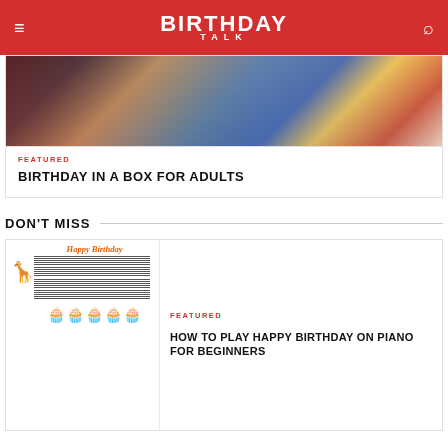BIRTHDAY TALK
[Figure (photo): Birthday gifts in a box including Lego set and polka dot gift bag]
FEATURED
BIRTHDAY IN A BOX FOR ADULTS
DON'T MISS
[Figure (photo): Sheet music for Happy Birthday on piano with cupcakes at bottom]
FEATURED
HOW TO PLAY HAPPY BIRTHDAY ON PIANO FOR BEGINNERS